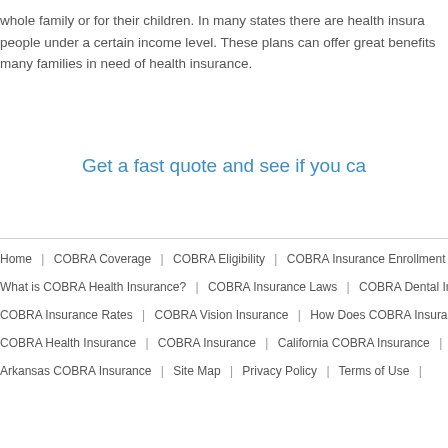whole family or for their children. In many states there are health insurance plans for people under a certain income level. These plans can offer great benefits for many families in need of health insurance.
Get a fast quote and see if you ca
Home | COBRA Coverage | COBRA Eligibility | COBRA Insurance Enrollment | S What is COBRA Health Insurance? | COBRA Insurance Laws | COBRA Dental Insura COBRA Insurance Rates | COBRA Vision Insurance | How Does COBRA Insurance W COBRA Health Insurance | COBRA Insurance | California COBRA Insurance | Alas Arkansas COBRA Insurance | Site Map | Privacy Policy | Terms of Use |